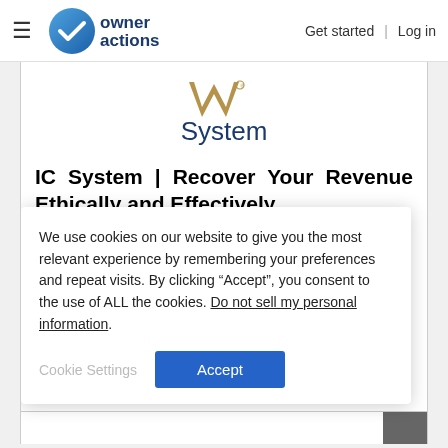[Figure (logo): Owner Actions logo with blue circular checkmark icon and 'owner actions' text in dark blue, plus hamburger menu icon on left]
Get started  |  Log in
[Figure (logo): IC System logo: gold/tan W-shape symbol with registered trademark, and 'System' text in dark blue below]
IC System | Recover Your Revenue Ethically and Effectively
We use cookies on our website to give you the most relevant experience by remembering your preferences and repeat visits. By clicking “Accept”, you consent to the use of ALL the cookies. Do not sell my personal information.